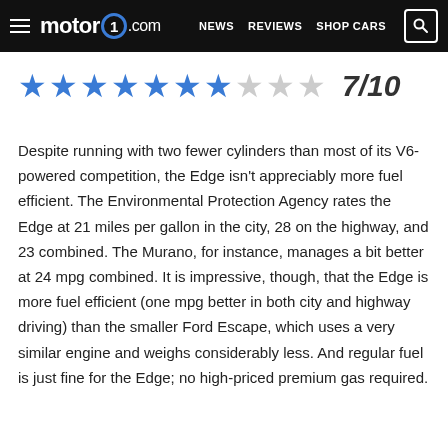motor1.com  NEWS  REVIEWS  SHOP CARS
[Figure (infographic): Star rating: 7 out of 10 — seven filled blue stars and three empty grey stars, with score 7/10 displayed in bold italic]
Despite running with two fewer cylinders than most of its V6-powered competition, the Edge isn't appreciably more fuel efficient. The Environmental Protection Agency rates the Edge at 21 miles per gallon in the city, 28 on the highway, and 23 combined. The Murano, for instance, manages a bit better at 24 mpg combined. It is impressive, though, that the Edge is more fuel efficient (one mpg better in both city and highway driving) than the smaller Ford Escape, which uses a very similar engine and weighs considerably less. And regular fuel is just fine for the Edge; no high-priced premium gas required.